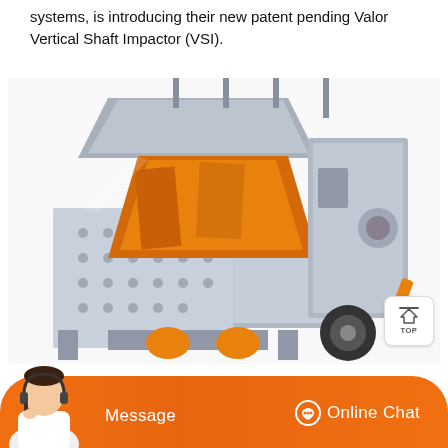systems, is introducing their new patent pending Valor Vertical Shaft Impactor (VSI).
[Figure (photo): 3D rendered image of a Valor Vertical Shaft Impactor (VSI) machine, showing the industrial crusher with opened housing revealing internal components in orange/yellow and grey metallic body with perforations.]
[Figure (other): TOP navigation button - a small white rounded square button with a house/up arrow icon and 'TOP' text below.]
[Figure (other): Bottom orange banner bar with a customer service agent photo on the left, 'Message' button in the center, and 'Online Chat' button with headset icon on the right.]